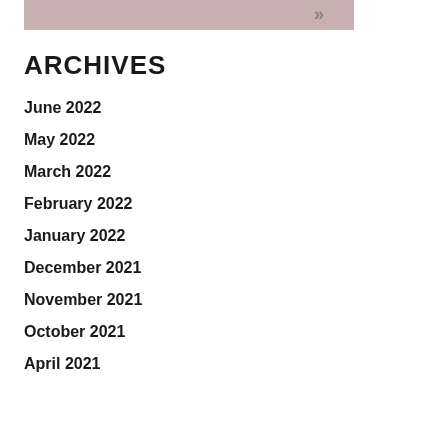[Figure (illustration): Partial image with pinkish-mauve background, top of page]
ARCHIVES
June 2022
May 2022
March 2022
February 2022
January 2022
December 2021
November 2021
October 2021
April 2021